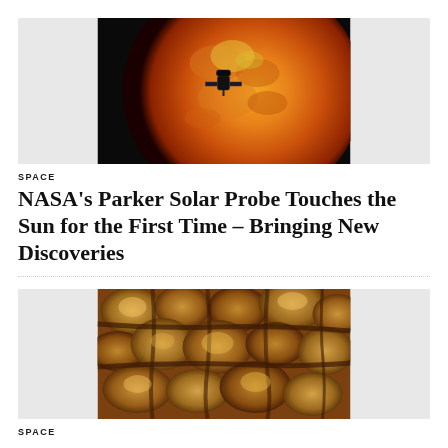[Figure (photo): Parker Solar Probe spacecraft silhouetted against the glowing orange sun]
SPACE
NASA’s Parker Solar Probe Touches the Sun for the First Time – Bringing New Discoveries
[Figure (photo): Close-up golden-brown textured surface of the sun showing granules and convection cells]
SPACE